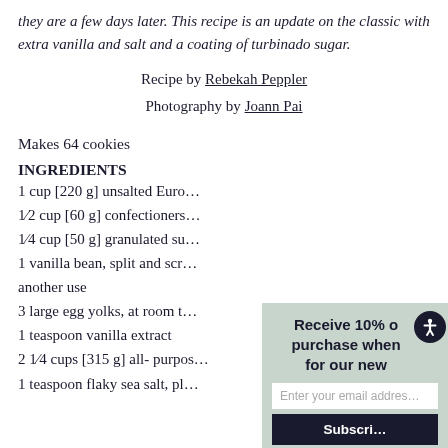they are a few days later. This recipe is an update on the classic with extra vanilla and salt and a coating of turbinado sugar.
Recipe by Rebekah Peppler
Photography by Joann Pai
Makes 64 cookies
INGREDIENTS
1 cup [220 g] unsalted Euro...
1⁄2 cup [60 g] confectioners...
1⁄4 cup [50 g] granulated su...
1 vanilla bean, split and scr... another use
3 large egg yolks, at room t...
1 teaspoon vanilla extract
2 1⁄4 cups [315 g] all-purpos...
1 teaspoon flaky sea salt, pl...
[Figure (screenshot): Newsletter signup popup overlay with text 'Receive 10% o... purchase when... for our new...' and an email input field and Subscribe button, partially obscuring the ingredient list.]